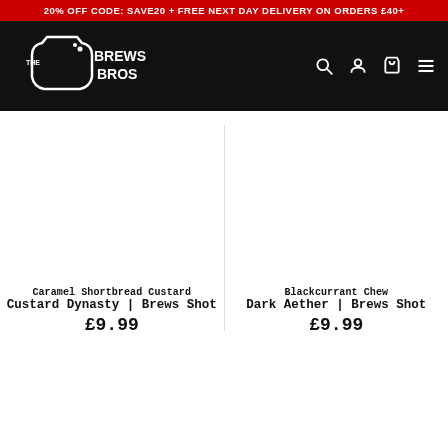20% OFF CODE: SAVE20 + FREE NEXT DAY DELIVERY ON ORDERS £40+
[Figure (logo): The Brews Bros logo — white bottle outline with 'THE BREWS BROS' text on black background, with navigation icons (search, account, cart, menu)]
Caramel Shortbread Custard
Custard Dynasty | Brews Shot
£9.99
Blackcurrant Chew
Dark Aether | Brews Shot
£9.99